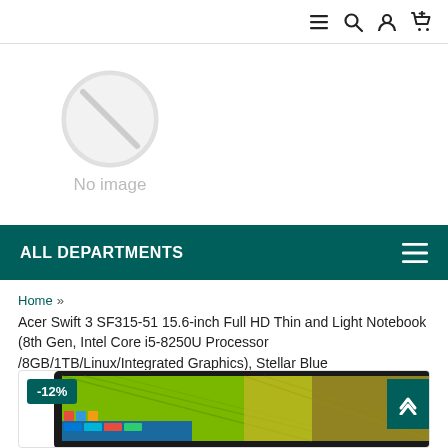Navigation bar with menu, search, account, and cart icons
[Figure (illustration): No image placeholder: circle with a slash through it and 'No image' text below]
ALL DEPARTMENTS
Home » Acer Swift 3 SF315-51 15.6-inch Full HD Thin and Light Notebook (8th Gen, Intel Core i5-8250U Processor /8GB/1TB/Linux/Integrated Graphics), Stellar Blue
[Figure (photo): Acer laptop product image with -12% discount badge]